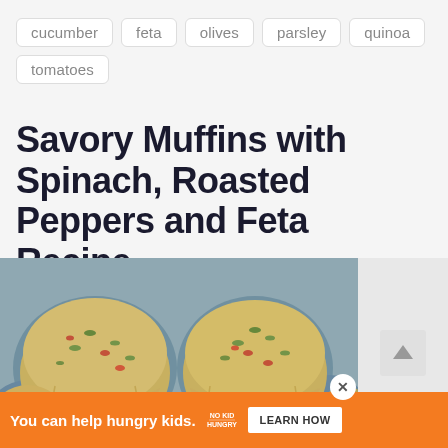cucumber
feta
olives
parsley
quinoa
tomatoes
Savory Muffins with Spinach, Roasted Peppers and Feta Recipe
[Figure (photo): Overhead photo of savory muffins with spinach, roasted peppers and feta in metal muffin tins, with parchment liners]
You can help hungry kids. NO KID HUNGRY LEARN HOW